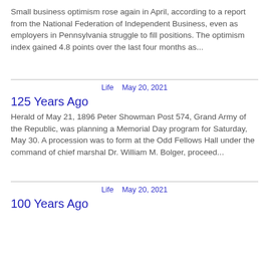Small business optimism rose again in April, according to a report from the National Federation of Independent Business, even as employers in Pennsylvania struggle to fill positions. The optimism index gained 4.8 points over the last four months as...
Life   May 20, 2021
125 Years Ago
Herald of May 21, 1896 Peter Showman Post 574, Grand Army of the Republic, was planning a Memorial Day program for Saturday, May 30. A procession was to form at the Odd Fellows Hall under the command of chief marshal Dr. William M. Bolger, proceed...
Life   May 20, 2021
100 Years Ago